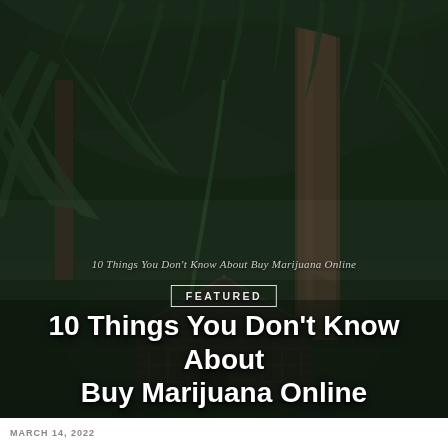[Figure (photo): Dark forest scene with large tree ferns, dense green foliage, and a wooden cabin/house with a pitched roof surrounded by lush rainforest vegetation. The scene is moody and dark with muted greens and browns.]
10 Things You Don't Know About Buy Marijuana Online
FEATURED
10 Things You Don't Know About Buy Marijuana Online
MARCH 14, 2022